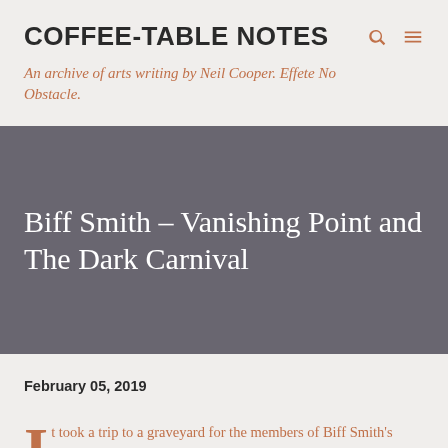COFFEE-TABLE NOTES
An archive of arts writing by Neil Cooper. Effete No Obstacle.
Biff Smith – Vanishing Point and The Dark Carnival
February 05, 2019
It took a trip to a graveyard for the members of Biff Smith's band